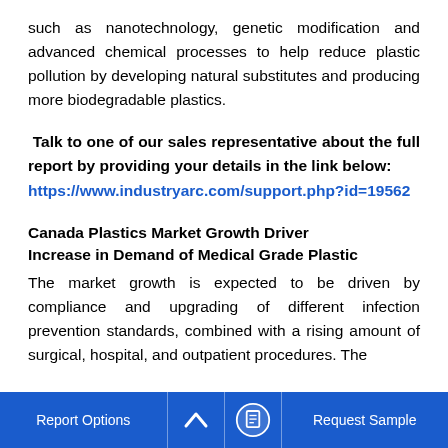such as nanotechnology, genetic modification and advanced chemical processes to help reduce plastic pollution by developing natural substitutes and producing more biodegradable plastics.
Talk to one of our sales representative about the full report by providing your details in the link below:
https://www.industryarc.com/support.php?id=19562
Canada Plastics Market Growth Driver
Increase in Demand of Medical Grade Plastic
The market growth is expected to be driven by compliance and upgrading of different infection prevention standards, combined with a rising amount of surgical, hospital, and outpatient procedures. The
Report Options  ^  [icon]  Request Sample